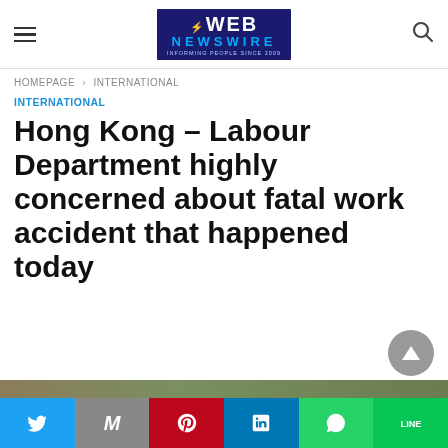Web Newswire logo
HOMEPAGE > INTERNATIONAL
INTERNATIONAL
Hong Kong – Labour Department highly concerned about fatal work accident that happened today
[Figure (screenshot): Social media share bar with Twitter, Mail, Pinterest, LinkedIn, WhatsApp, and LINE buttons]